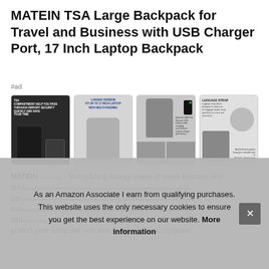MATEIN TSA Large Backpack for Travel and Business with USB Charger Port, 17 Inch Laptop Backpack
#ad
[Figure (photo): Four product images of the MATEIN TSA backpack showing: (1) TSA compartment pass-through, (2) Larger version fitting 17-inch laptop with multi-padding, (3) External USB port with charging cable, (4) Luggage strap and anti-theft back pocket features]
MATEIN [gray] - Sturdy&long lasting: made of water resistant and durable [text partially obscured by cookie banner] pack [obscured] room [obscured] laptop [obscured] protect your computer and able to hold 17 inch computer.
As an Amazon Associate I earn from qualifying purchases. This website uses the only necessary cookies to ensure you get the best experience on our website. More information